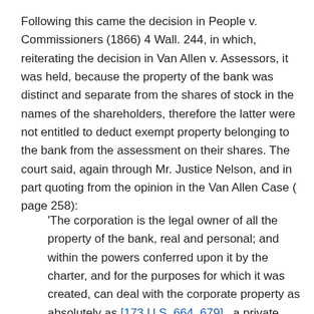Following this came the decision in People v. Commissioners (1866) 4 Wall. 244, in which, reiterating the decision in Van Allen v. Assessors, it was held, because the property of the bank was distinct and separate from the shares of stock in the names of the shareholders, therefore the latter were not entitled to deduct exempt property belonging to the bank from the assessment on their shares. The court said, again through Mr. Justice Nelson, and in part quoting from the opinion in the Van Allen Case ( page 258):
'The corporation is the legal owner of all the property of the bank, real and personal; and within the powers conferred upon it by the charter, and for the purposes for which it was created, can deal with the corporate property as absolutely as [173 U.S. 664, 679]   a private individual can deal with his own. ... The interest of the shareholder entitles him to participate in the net profits earned by the [bank, in the employment of its capital during the...]